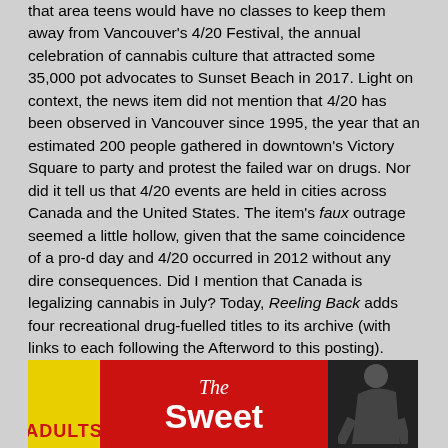that area teens would have no classes to keep them away from Vancouver's 4/20 Festival, the annual celebration of cannabis culture that attracted some 35,000 pot advocates to Sunset Beach in 2017. Light on context, the news item did not mention that 4/20 has been observed in Vancouver since 1995, the year that an estimated 200 people gathered in downtown's Victory Square to party and protest the failed war on drugs. Nor did it tell us that 4/20 events are held in cities across Canada and the United States. The item's faux outrage seemed a little hollow, given that the same coincidence of a pro-d day and 4/20 occurred in 2012 without any dire consequences. Did I mention that Canada is legalizing cannabis in July? Today, Reeling Back adds four recreational drug-fuelled titles to its archive (with links to each following the Afterword to this posting). Most in keeping with the tone of that recent TV report is director Louis Gasnier's 1936 "educational" feature Reefer Madness.
[Figure (photo): Movie banner/poster image showing the word ADULTS on yellow background on the left, then a red background with 'The Sweet' text in white, and a dark silhouette of a person on the right]